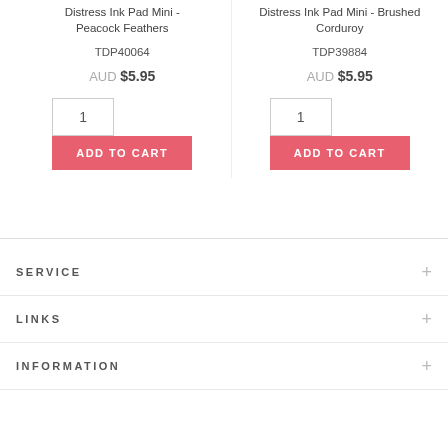Distress Ink Pad Mini - Peacock Feathers
TDP40064
AUD $5.95
1
ADD TO CART
Distress Ink Pad Mini - Brushed Corduroy
TDP39884
AUD $5.95
1
ADD TO CART
SERVICE
LINKS
INFORMATION